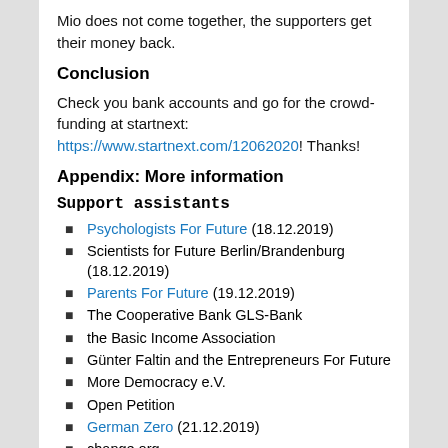Mio does not come together, the supporters get their money back.
Conclusion
Check you bank accounts and go for the crowd-funding at startnext: https://www.startnext.com/12062020! Thanks!
Appendix: More information
Support assistants
Psychologists For Future (18.12.2019)
Scientists for Future Berlin/Brandenburg (18.12.2019)
Parents For Future (19.12.2019)
The Cooperative Bank GLS-Bank
the Basic Income Association
Günter Faltin and the Entrepreneurs For Future
More Democracy e.V.
Open Petition
German Zero (21.12.2019)
change.org